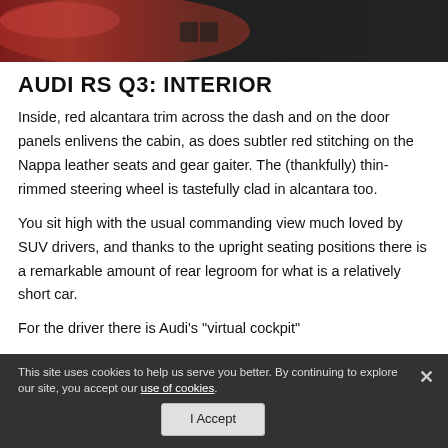[Figure (photo): Interior photo of the Audi RS Q3 showing red alcantara trim and dashboard area]
AUDI RS Q3: INTERIOR
Inside, red alcantara trim across the dash and on the door panels enlivens the cabin, as does subtler red stitching on the Nappa leather seats and gear gaiter. The (thankfully) thin-rimmed steering wheel is tastefully clad in alcantara too.
You sit high with the usual commanding view much loved by SUV drivers, and thanks to the upright seating positions there is a remarkable amount of rear legroom for what is a relatively short car.
For the driver there is Audi's "virtual cockpit"
This site uses cookies to help us serve you better. By continuing to explore our site, you accept our use of cookies.